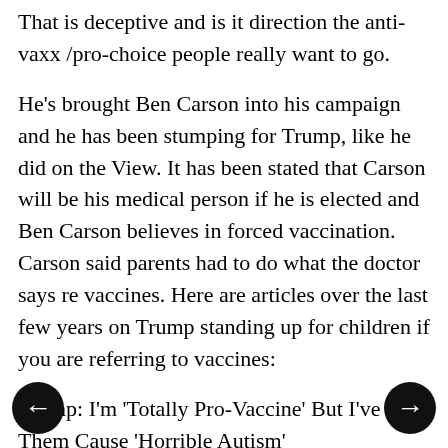That is deceptive and is it direction the anti-vaxx /pro-choice people really want to go.
He's brought Ben Carson into his campaign and he has been stumping for Trump, like he did on the View. It has been stated that Carson will be his medical person if he is elected and Ben Carson believes in forced vaccination. Carson said parents had to do what the doctor says re vaccines. Here are articles over the last few years on Trump standing up for children if you are referring to vaccines:
Trump: I'm 'Totally Pro-Vaccine' But I've Seen Them Cause 'Horrible Autism' "It's amazing that it's never discussed," he added, saying that he's gotten thanks from people who are "incensed in terms of what's going on with vaccines."